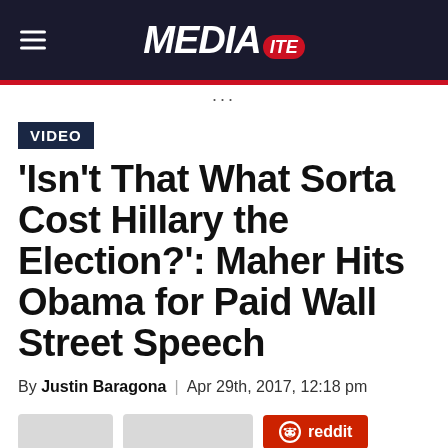MEDIAITE
VIDEO
'Isn't That What Sorta Cost Hillary the Election?': Maher Hits Obama for Paid Wall Street Speech
By Justin Baragona | Apr 29th, 2017, 12:18 pm
[Figure (other): Social share buttons: two gray buttons and a reddit button]